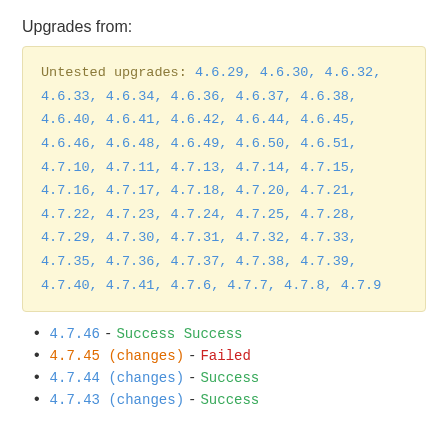Upgrades from:
Untested upgrades: 4.6.29, 4.6.30, 4.6.32, 4.6.33, 4.6.34, 4.6.36, 4.6.37, 4.6.38, 4.6.40, 4.6.41, 4.6.42, 4.6.44, 4.6.45, 4.6.46, 4.6.48, 4.6.49, 4.6.50, 4.6.51, 4.7.10, 4.7.11, 4.7.13, 4.7.14, 4.7.15, 4.7.16, 4.7.17, 4.7.18, 4.7.20, 4.7.21, 4.7.22, 4.7.23, 4.7.24, 4.7.25, 4.7.28, 4.7.29, 4.7.30, 4.7.31, 4.7.32, 4.7.33, 4.7.35, 4.7.36, 4.7.37, 4.7.38, 4.7.39, 4.7.40, 4.7.41, 4.7.6, 4.7.7, 4.7.8, 4.7.9
4.7.46 - Success Success
4.7.45 (changes) - Failed
4.7.44 (changes) - Success
4.7.43 (changes) - Success